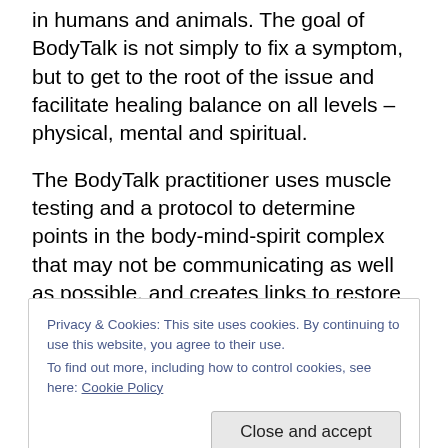in humans and animals. The goal of BodyTalk is not simply to fix a symptom, but to get to the root of the issue and facilitate healing balance on all levels – physical, mental and spiritual.
The BodyTalk practitioner uses muscle testing and a protocol to determine points in the body-mind-spirit complex that may not be communicating as well as possible, and creates links to restore and enhance communication.  When the body is communicating, it can heal itself.
Privacy & Cookies: This site uses cookies. By continuing to use this website, you agree to their use. To find out more, including how to control cookies, see here: Cookie Policy